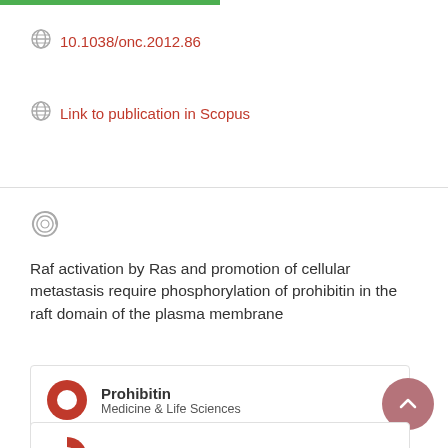10.1038/onc.2012.86
Link to publication in Scopus
Raf activation by Ras and promotion of cellular metastasis require phosphorylation of prohibitin in the raft domain of the plasma membrane
Prohibitin
Medicine & Life Sciences
Cell Membrane